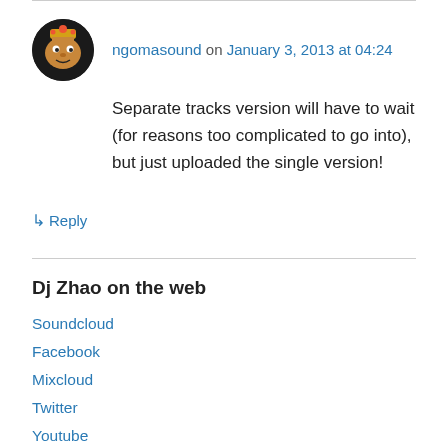ngomasound on January 3, 2013 at 04:24
Separate tracks version will have to wait (for reasons too complicated to go into), but just uploaded the single version!
↳ Reply
Dj Zhao on the web
Soundcloud
Facebook
Mixcloud
Twitter
Youtube
Optikom (graphic design)